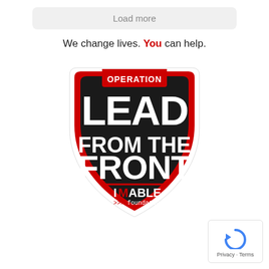Load more
We change lives. You can help.
[Figure (logo): Operation Lead From The Front - IMAble Foundation shield logo. Black shield with red border, white stencil text reading LEAD FROM THE FRONT, red banner at top reading OPERATION, and IMAble foundation text at bottom.]
[Figure (other): reCAPTCHA privacy badge with circular arrow icon and Privacy - Terms text]